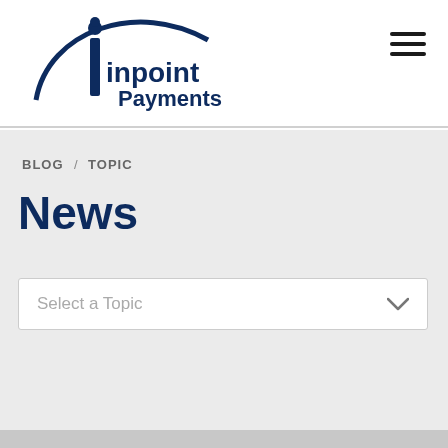[Figure (logo): Inpoint Payments logo — stylized 'i' and swoosh in dark navy blue with text 'inpoint Payments']
BLOG / TOPIC
News
Select a Topic